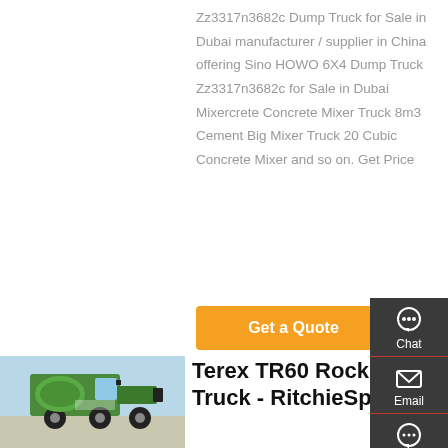Zz3317n3682c Dump Truck for Sale in Dubai manufacturer / supplier in China offering Sino HOWO 6X4 Dump Truck Zz3317n3682c for Sale in Dubai Mixercrete Concrete Mixer Truck 8m3 Cement Big Mixer Truck 20 Cubic Concrete Mixer and so on. Get Price
[Figure (other): Orange 'Get a Quote' button]
[Figure (photo): Green Sino HOWO dump truck / mixer truck parked outdoors]
Terex TR60 Rock Truck - RitchieSpecs
[Figure (other): Dark sidebar with Chat, Email, Contact, Top navigation icons]